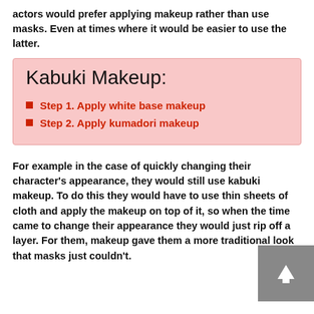actors would prefer applying makeup rather than use masks. Even at times where it would be easier to use the latter.
Kabuki Makeup:
Step 1. Apply white base makeup
Step 2. Apply kumadori makeup
For example in the case of quickly changing their character's appearance, they would still use kabuki makeup. To do this they would have to use thin sheets of cloth and apply the makeup on top of it, so when the time came to change their appearance they would just rip off a layer. For them, makeup gave them a more traditional look that masks just couldn't.